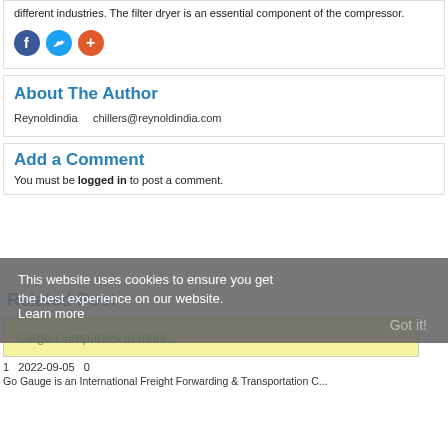different industries. The filter dryer is an essential component of the compressor.
[Figure (illustration): Social sharing icons: Facebook (blue circle with f), Twitter (blue circle with bird), and a red/orange plus circle for more sharing options]
About The Author
Reynoldindia    chillers@reynoldindia.com
Add a Comment
You must be logged in to post a comment.
This website uses cookies to ensure you get the best experience on our website.
Learn more
Got it!
Related Post
Cargo Companies in India..
1   2022-09-05   0
Go Gauge is an International Freight Forwarding & Transportation C...